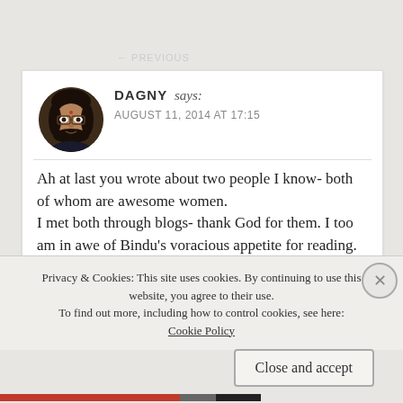[Figure (photo): Circular avatar photo of a woman with glasses and dark hair, on a dark background]
DAGNY says:
AUGUST 11, 2014 AT 17:15
Ah at last you wrote about two people I know- both of whom are awesome women.
I met both through blogs- thank God for them. I too am in awe of Bindu’s voracious appetite for reading.
Privacy & Cookies: This site uses cookies. By continuing to use this website, you agree to their use.
To find out more, including how to control cookies, see here:
Cookie Policy
Close and accept